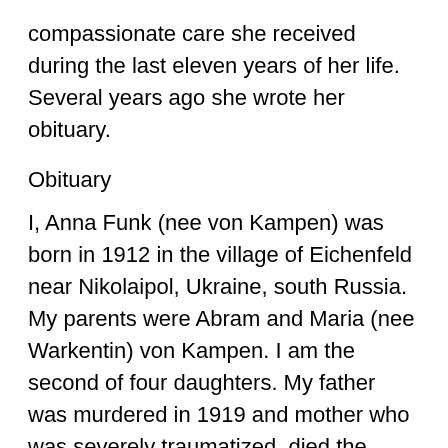compassionate care she received during the last eleven years of her life. Several years ago she wrote her obituary.
Obituary
I, Anna Funk (nee von Kampen) was born in 1912 in the village of Eichenfeld near Nikolaipol, Ukraine, south Russia. My parents were Abram and Maria (nee Warkentin) von Kampen. I am the second of four daughters. My father was murdered in 1919 and mother who was severely traumatized, died the following February. My younger sister (born in December) also died. I was 7 years old when my parents died.
We three sisters were taken in by three different families. I lived with the Franz Schellenbergs, and was expected to work hard. I was baptised on confession of my faith in Jesus